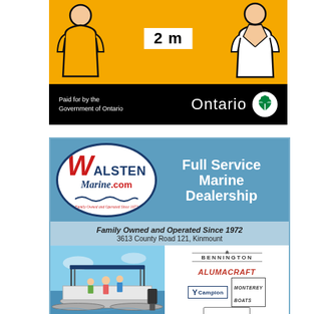[Figure (infographic): Ontario Government social distancing public health ad showing two figures 2 metres apart on yellow background with black footer showing 'Paid for by the Government of Ontario' and Ontario trillium logo]
[Figure (infographic): Walsten Marine advertisement - Full Service Marine Dealership, Family Owned and Operated Since 1972, 3613 County Road 121 Kinmount, showing brands: Bennington, Alumacraft, Campion, Monterey Boats, WaveRunner, Yamaha, with pontoon boat photo]